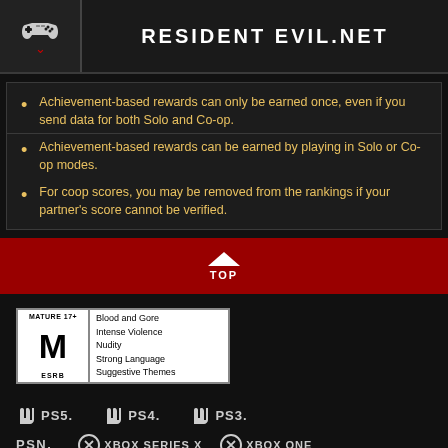RESIDENT EVIL.NET
Achievement-based rewards can only be earned once, even if you send data for both Solo and Co-op.
Achievement-based rewards can be earned by playing in Solo or Co-op modes.
For coop scores, you may be removed from the rankings if your partner's score cannot be verified.
[Figure (infographic): TOP navigation button on red band]
[Figure (infographic): ESRB Mature 17+ rating box: Blood and Gore, Intense Violence, Nudity, Strong Language, Suggestive Themes]
[Figure (logo): Platform logos: PS5, PS4, PS3, PSN, Xbox Series X, Xbox One, and partially visible others including Nintendo]